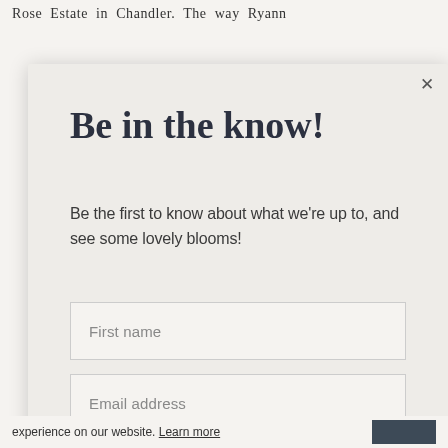Rose Estate in Chandler. The way Ryann blooms. The...
[Figure (screenshot): Modal popup overlay with close button (×), title 'Be in the know!', descriptive text, two input fields (First name, Email address), and a dark blue submit button labeled 'YES, please!']
Be in the know!
Be the first to know about what we're up to, and see some lovely blooms!
First name
Email address
YES, please!
experience on our website. Learn more